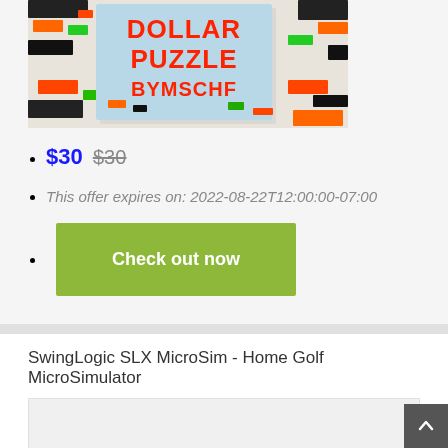[Figure (photo): Product image of Dollar Puzzle by MSCHF — colorful jigsaw puzzle box surrounded by scattered puzzle pieces in black, orange, green colors on white background]
$30 $30
This offer expires on: 2022-08-22T12:00:00-07:00
Check out now
SwingLogic SLX MicroSim - Home Golf MicroSimulator